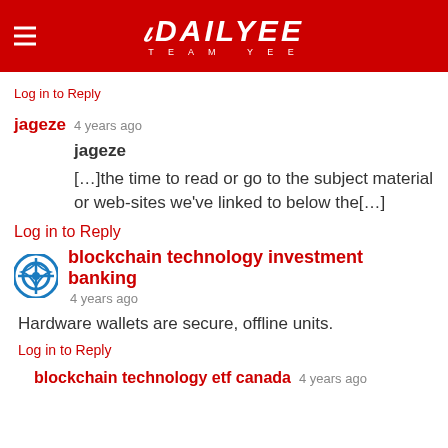DAILYEE TEAM YEE
Log in to Reply
jageze  4 years ago
jageze
[…]the time to read or go to the subject material or web-sites we've linked to below the[…]
Log in to Reply
blockchain technology investment banking  4 years ago
Hardware wallets are secure, offline units.
Log in to Reply
blockchain technology etf canada  4 years ago